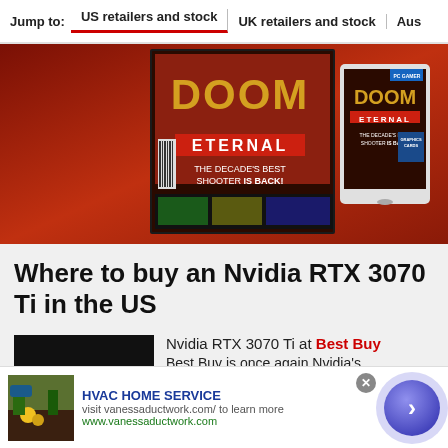Jump to:  US retailers and stock  |  UK retailers and stock  |  Aus
[Figure (photo): Magazine covers for PC Gamer featuring Doom Eternal — two editions shown, one print and one digital tablet version, with red/fire background]
Where to buy an Nvidia RTX 3070 Ti in the US
Nvidia RTX 3070 Ti at Best Buy
Best Buy is once again Nvidia's
[Figure (photo): Black product image placeholder for Nvidia RTX 3070 Ti graphics card]
HVAC HOME SERVICE
visit vanessaductwork.com/ to learn more
www.vanessaductwork.com